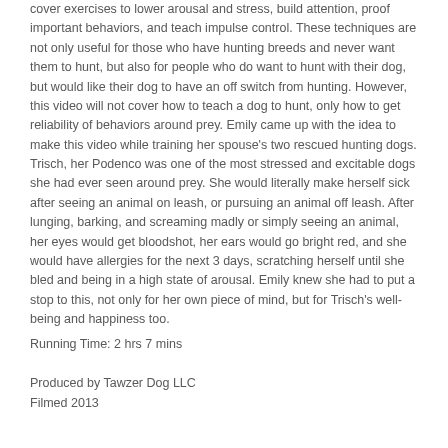cover exercises to lower arousal and stress, build attention, proof important behaviors, and teach impulse control. These techniques are not only useful for those who have hunting breeds and never want them to hunt, but also for people who do want to hunt with their dog, but would like their dog to have an off switch from hunting. However, this video will not cover how to teach a dog to hunt, only how to get reliability of behaviors around prey. Emily came up with the idea to make this video while training her spouse's two rescued hunting dogs. Trisch, her Podenco was one of the most stressed and excitable dogs she had ever seen around prey. She would literally make herself sick after seeing an animal on leash, or pursuing an animal off leash. After lunging, barking, and screaming madly or simply seeing an animal, her eyes would get bloodshot, her ears would go bright red, and she would have allergies for the next 3 days, scratching herself until she bled and being in a high state of arousal. Emily knew she had to put a stop to this, not only for her own piece of mind, but for Trisch's well-being and happiness too.
Running Time: 2 hrs 7 mins
Produced by Tawzer Dog LLC
Filmed 2013